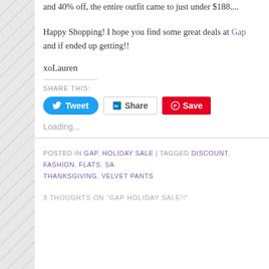and 40% off, the entire outfit came to just under $188....
Happy Shopping! I hope you find some great deals at Gap and if ended up getting!!
xoLauren
SHARE THIS:
[Figure (screenshot): Tweet, Share, and Save social sharing buttons]
Loading...
POSTED IN GAP, HOLIDAY SALE | TAGGED DISCOUNT, FASHION, FLATS, SA... THANKSGIVING, VELVET PANTS
3 THOUGHTS ON "GAP HOLIDAY SALE!!"